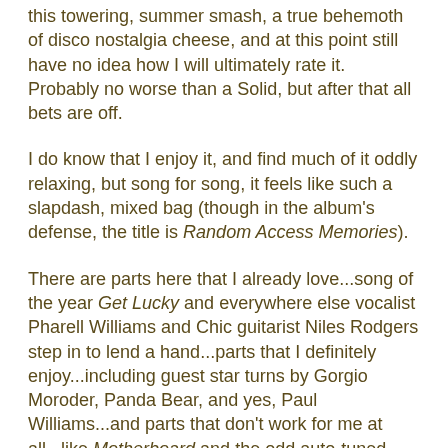this towering, summer smash, a true behemoth of disco nostalgia cheese, and at this point still have no idea how I will ultimately rate it.  Probably no worse than a Solid, but after that all bets are off.
I do know that I enjoy it, and find much of it oddly relaxing, but song for song, it feels like such a slapdash, mixed bag (though in the album's defense, the title is Random Access Memories).
There are parts here that I already love...song of the year Get Lucky and everywhere else vocalist Pharell Williams and Chic guitarist Niles Rodgers step in to lend a hand...parts that I definitely enjoy...including guest star turns by Gorgio Moroder, Panda Bear, and yes, Paul Williams...and parts that don't work for me at all...like Motherboard and the odd auto-tuned Juliana Casablancas number Instant Crush.
But regardless of where I end up on Random Access Memories, it is a fun album with some unreal musicianship, and definitely worth checking out if you've got a craving for